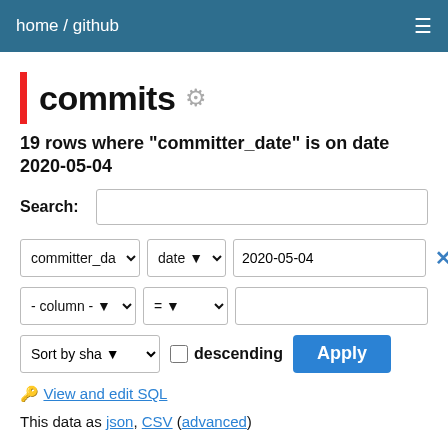home / github
commits ⚙
19 rows where "committer_date" is on date 2020-05-04
Search:
committer_date | date | 2020-05-04 ×
- column - | = |
Sort by sha | descending | Apply
View and edit SQL
This data as json, CSV (advanced)